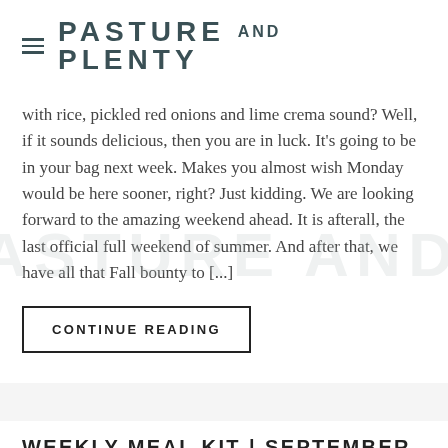≡ PASTURE AND PLENTY
with rice, pickled red onions and lime crema sound? Well, if it sounds delicious, then you are in luck. It's going to be in your bag next week. Makes you almost wish Monday would be here sooner, right? Just kidding. We are looking forward to the amazing weekend ahead. It is afterall, the last official full weekend of summer. And after that, we have all that Fall bounty to [...]
CONTINUE READING
WEEKLY MEAL KIT | SEPTEMBER 10
WEEKLY MEAL KIT
We hate to tease you when you have wait 3 whole days to